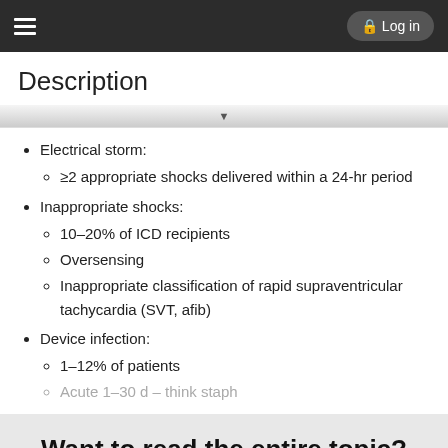Log in
Description
Electrical storm:
≥2 appropriate shocks delivered within a 24-hr period
Inappropriate shocks:
10–20% of ICD recipients
Oversensing
Inappropriate classification of rapid supraventricular tachycardia (SVT, afib)
Device infection:
1–12% of patients
Acute 1–30 d – think staph
Want to read the entire topic?
Purchase a subscription
I'm already a subscriber
Browse sample topics